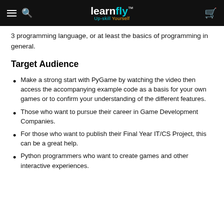learnfly Up-skill Yourself
3 programming language, or at least the basics of programming in general.
Target Audience
Make a strong start with PyGame by watching the video then access the accompanying example code as a basis for your own games or to confirm your understanding of the different features.
Those who want to pursue their career in Game Development Companies.
For those who want to publish their Final Year IT/CS Project, this can be a great help.
Python programmers who want to create games and other interactive experiences.